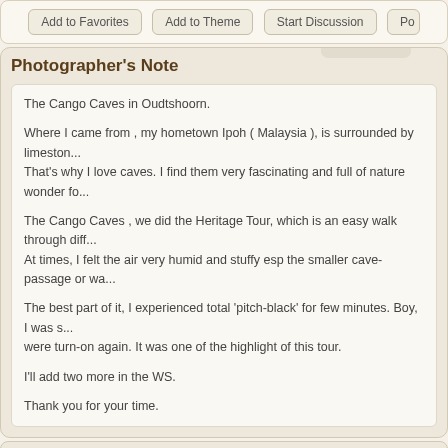[Figure (screenshot): Top bar with buttons: Add to Favorites, Add to Theme, Start Discussion, Po...]
Photographer's Note
The Cango Caves in Oudtshoorn.

Where I came from , my hometown Ipoh ( Malaysia ), is surrounded by limestone hills. That's why I love caves. I find them very fascinating and full of nature wonder fo...

The Cango Caves , we did the Heritage Tour, which is an easy walk through diff... At times, I felt the air very humid and stuffy esp the smaller cave-passage or wa...

The best part of it, I experienced total 'pitch-black' for few minutes. Boy, I was s... were turn-on again. It was one of the highlight of this tour.

I'll add two more in the WS.

Thank you for your time.
Fis2, pajaran, holmertz, ikeharel, Royaldevon, jhm, ktanska, PaulVDV has n...
Critiques